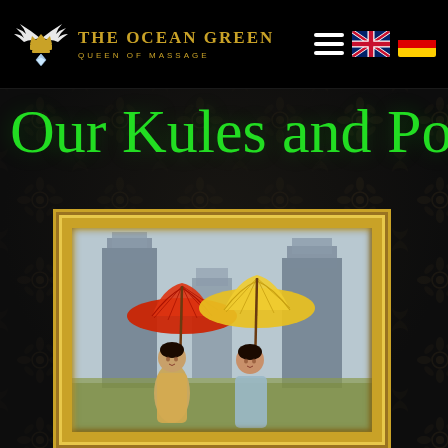[Figure (logo): The Ocean Green Queen of Massage logo with winged crown and diamond, text THE OCEAN GREEN QUEEN OF MASSAGE in gold]
[Figure (infographic): Navigation icons: hamburger menu, UK flag, German flag]
Our Rules and Policy
[Figure (photo): Two Thai women in traditional costumes holding red and yellow parasols/umbrellas in front of ancient temple ruins, framed in ornate gold picture frame]